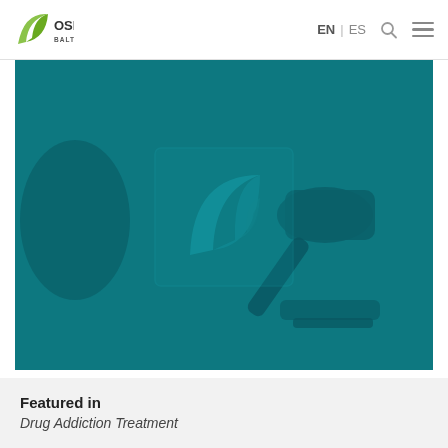OSI Baltimore | EN | ES
[Figure (photo): Teal-tinted photo of a judge's gavel on a wooden surface, with a semi-transparent OSI spiral watermark logo overlaid in the center]
Featured in
Drug Addiction Treatment